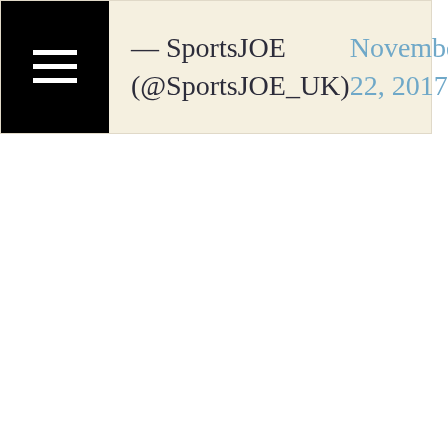— SportsJOE (@SportsJOE_UK) November 22, 2017